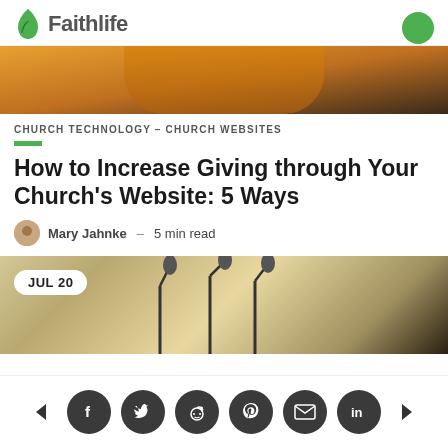Faithlife
[Figure (photo): Cropped hero image of person in orange/yellow shirt with arms crossed]
CHURCH TECHNOLOGY – CHURCH WEBSITES
How to Increase Giving through Your Church's Website: 5 Ways
Mary Jahnke  –  5 min read
[Figure (photo): Photo of microphones on stands at a podium/conference setting with JUL 20 date badge]
Social share buttons: Facebook, Twitter, Reddit, Pinterest, Email, LinkedIn